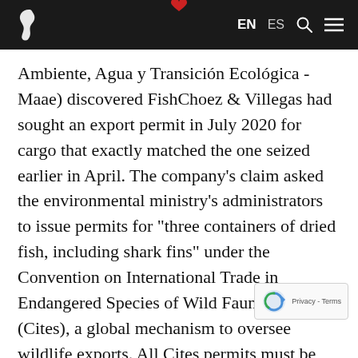EN ES [search] [menu]
Ambiente, Agua y Transición Ecológica - Maae) discovered FishChoez & Villegas had sought an export permit in July 2020 for cargo that exactly matched the one seized earlier in April. The company's claim asked the environmental ministry's administrators to issue permits for "three containers of dried fish, including shark fins" under the Convention on International Trade in Endangered Species of Wild Fauna and Flora (Cites), a global mechanism to oversee wildlife exports. All Cites permits must be issued before exportation.
A lawyer for FishChoez & Villegas told Mongabay that the company has no knowledge